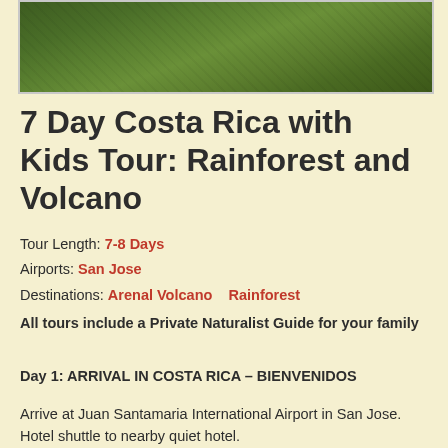[Figure (photo): Aerial or hillside view of dense tropical rainforest with green tree canopy]
7 Day Costa Rica with Kids Tour: Rainforest and Volcano
Tour Length: 7-8 Days
Airports: San Jose
Destinations: Arenal Volcano    Rainforest
All tours include a Private Naturalist Guide for your family
Day 1: ARRIVAL IN COSTA RICA – BIENVENIDOS
Arrive at Juan Santamaria International Airport in San Jose. Hotel shuttle to nearby quiet hotel.